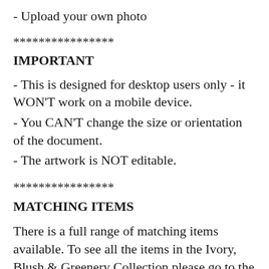- Upload your own photo
****************
IMPORTANT
- This is designed for desktop users only - it WON'T work on a mobile device.
- You CAN'T change the size or orientation of the document.
- The artwork is NOT editable.
****************
MATCHING ITEMS
There is a full range of matching items available. To see all the items in the Ivory, Blush & Greenery Collection please go to the front page of the shop